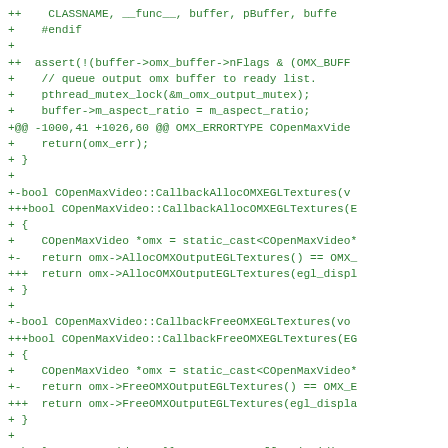Code diff showing changes to COpenMaxVideo class methods including CallbackAllocOMXEGLTextures, CallbackFreeOMXEGLTextures, and AllocOMXOutputBuffers